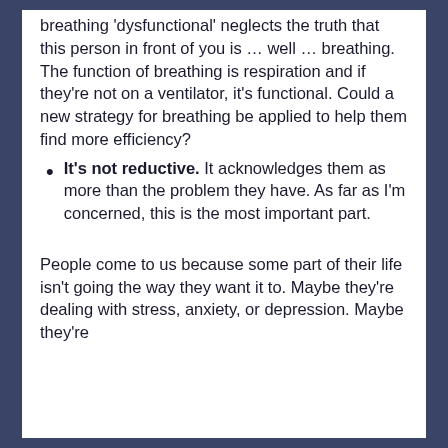breathing 'dysfunctional' neglects the truth that this person in front of you is … well … breathing. The function of breathing is respiration and if they're not on a ventilator, it's functional. Could a new strategy for breathing be applied to help them find more efficiency?
It's not reductive. It acknowledges them as more than the problem they have. As far as I'm concerned, this is the most important part.
People come to us because some part of their life isn't going the way they want it to. Maybe they're dealing with stress, anxiety, or depression. Maybe they're